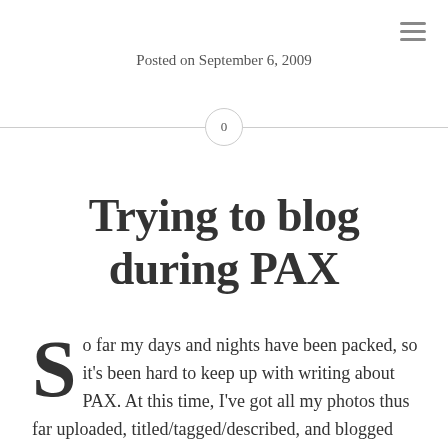☰
Posted on September 6, 2009
Trying to blog during PAX
So far my days and nights have been packed, so it's been hard to keep up with writing about PAX. At this time, I've got all my photos thus far uploaded, titled/tagged/described, and blogged about, and I'm hoping to get one more